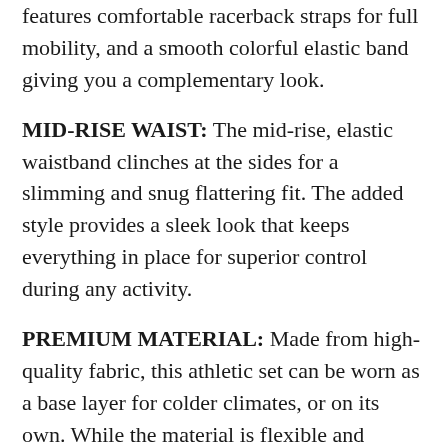features comfortable racerback straps for full mobility, and a smooth colorful elastic band giving you a complementary look.
MID-RISE WAIST: The mid-rise, elastic waistband clinches at the sides for a slimming and snug flattering fit. The added style provides a sleek look that keeps everything in place for superior control during any activity.
PREMIUM MATERIAL: Made from high-quality fabric, this athletic set can be worn as a base layer for colder climates, or on its own. While the material is flexible and allows for a full range of motion, it also keeps you cool and dry, so you don't feel sweaty after your workout.
LUXURY STYLING: Exquisite stitching and first-